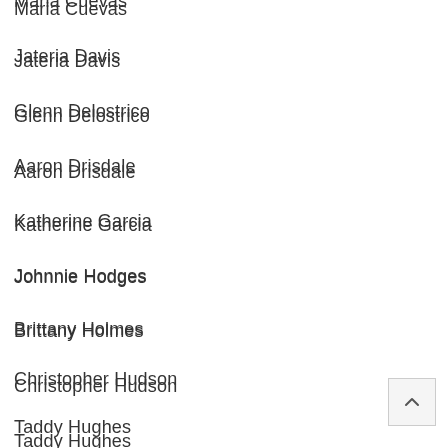Maria Cuevas
Jateria Davis
Glenn Delostrico
Aaron Drisdale
Katherine Garcia
Johnnie Hodges
Brittany Holmes
Christopher Hudson
Taddy Hughes
Choicelle Jackson
Faith Joiner